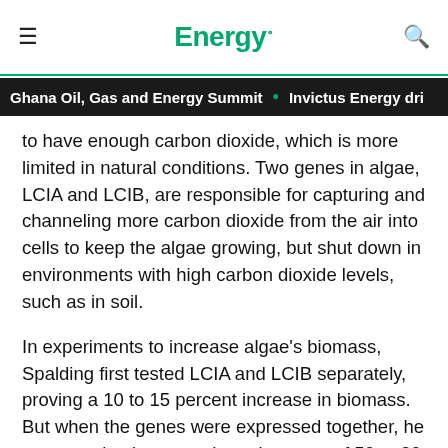Energy.
Ghana Oil, Gas and Energy Summit • Invictus Energy dri
to have enough carbon dioxide, which is more limited in natural conditions. Two genes in algae, LCIA and LCIB, are responsible for capturing and channeling more carbon dioxide from the air into cells to keep the algae growing, but shut down in environments with high carbon dioxide levels, such as in soil.
In experiments to increase algae's biomass, Spalding first tested LCIA and LCIB separately, proving a 10 to 15 percent increase in biomass. But when the genes were expressed together, he was surprised to see a huge increase of 50 to 80 percent.
"Somehow these two genes are working together to increase the amount of carbon dioxide that's converted through photosynthesis into biomass by the